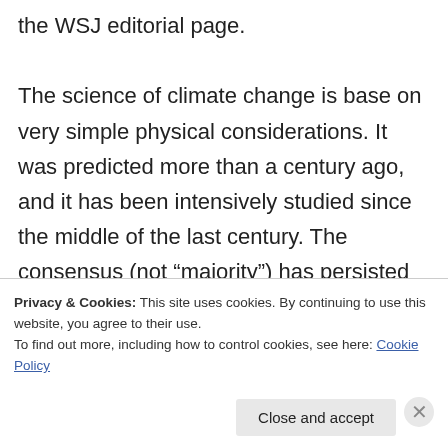the WSJ editorial page.

The science of climate change is base on very simple physical considerations. It was predicted more than a century ago, and it has been intensively studied since the middle of the last century. The consensus (not “majority”) has persisted for decades. There is no reason not to trust the climate scientists on their assessment of how sure they are. The people who disagree are not ignored or rejected by dint of their simple
Privacy & Cookies: This site uses cookies. By continuing to use this website, you agree to their use.
To find out more, including how to control cookies, see here: Cookie Policy